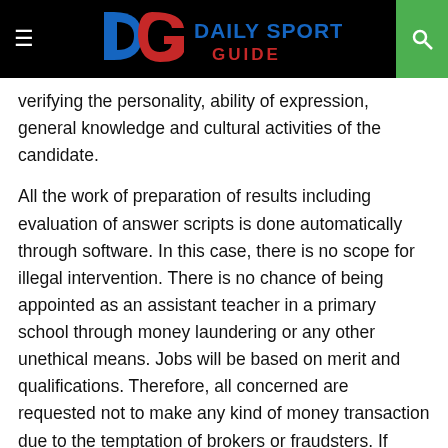DG DAILY SPORTS GUIDE
verifying the personality, ability of expression, general knowledge and cultural activities of the candidate.
All the work of preparation of results including evaluation of answer scripts is done automatically through software. In this case, there is no scope for illegal intervention. There is no chance of being appointed as an assistant teacher in a primary school through money laundering or any other unethical means. Jobs will be based on merit and qualifications. Therefore, all concerned are requested not to make any kind of money transaction due to the temptation of brokers or fraudsters. If anyone is tempted to give a job in exchange for money, he is requested to be handed over to the nearest police station or to inform the intelligence agency.